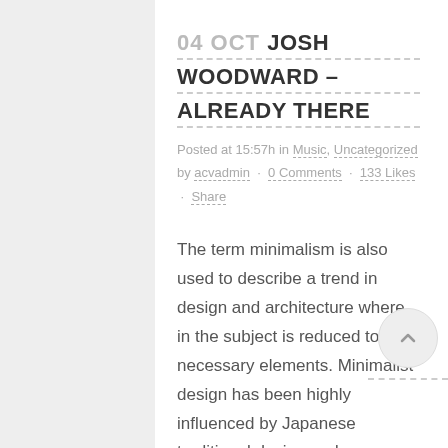04 OCT JOSH WOODWARD – ALREADY THERE
Posted at 15:57h in Music, Uncategorized by acvadmin · 0 Comments · 133 Likes · Share
The term minimalism is also used to describe a trend in design and architecture where in the subject is reduced to its necessary elements. Minimalist design has been highly influenced by Japanese traditional design and architecture. In addition, the work of De Stijl artists is...